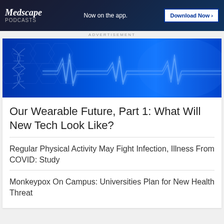[Figure (illustration): Medscape Podcasts advertisement banner with dark blue background, logo, tagline 'Now on the app.' and Download Now button]
ADVERTISEMENT
[Figure (photo): Blue-tinted medical/technology banner image showing EKG heartbeat waveform lines and glowing blue digital circuit board or DNA strand patterns]
Our Wearable Future, Part 1: What Will New Tech Look Like?
Regular Physical Activity May Fight Infection, Illness From COVID: Study
Monkeypox On Campus: Universities Plan for New Health Threat